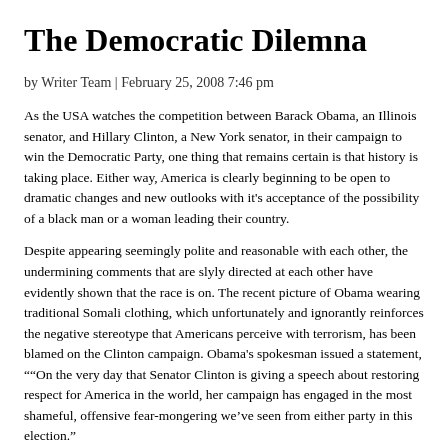The Democratic Dilemna
by Writer Team | February 25, 2008 7:46 pm
As the USA watches the competition between Barack Obama, an Illinois senator, and Hillary Clinton, a New York senator, in their campaign to win the Democratic Party, one thing that remains certain is that history is taking place. Either way, America is clearly beginning to be open to dramatic changes and new outlooks with it's acceptance of the possibility of a black man or a woman leading their country.
Despite appearing seemingly polite and reasonable with each other, the undermining comments that are slyly directed at each other have evidently shown that the race is on. The recent picture of Obama wearing traditional Somali clothing, which unfortunately and ignorantly reinforces the negative stereotype that Americans perceive with terrorism, has been blamed on the Clinton campaign. Obama's spokesman issued a statement, "“On the very day that Senator Clinton is giving a speech about restoring respect for America in the world, her campaign has engaged in the most shameful, offensive fear-mongering we’ve seen from either party in this election.”